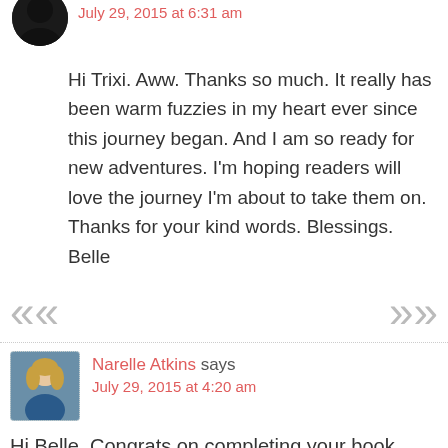July 29, 2015 at 6:31 am
Hi Trixi. Aww. Thanks so much. It really has been warm fuzzies in my heart ever since this journey began. And I am so ready for new adventures. I'm hoping readers will love the journey I'm about to take them on. Thanks for your kind words. Blessings. Belle
Narelle Atkins says
July 29, 2015 at 4:20 am
Hi Belle, Congrats on completing your book series! A great achievement :)